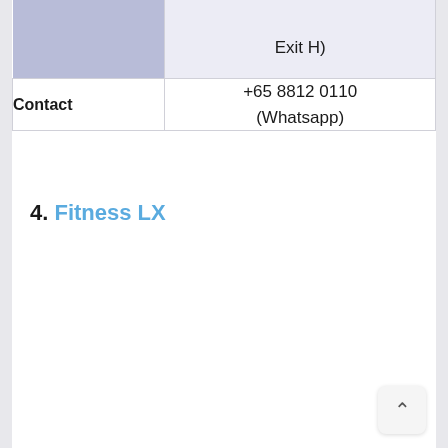|  |  |
| --- | --- |
|  | Exit H) |
| Contact | +65 8812 0110
(Whatsapp) |
4. Fitness LX